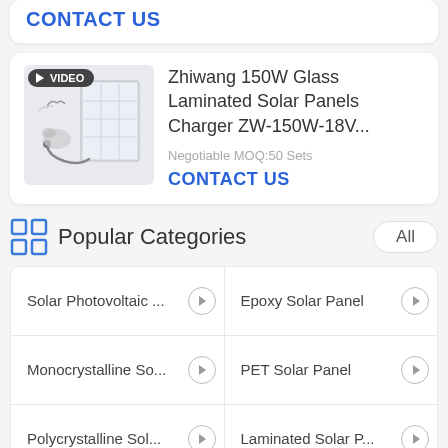CONTACT US
[Figure (photo): Product image of a glass laminated solar panel with video badge overlay]
Zhiwang 150W Glass Laminated Solar Panels Charger ZW-150W-18V...
Negotiable MOQ:50 Sets
CONTACT US
Popular Categories
Solar Photovoltaic ...
Epoxy Solar Panel
Monocrystalline So...
PET Solar Panel
Polycrystalline Sol...
Laminated Solar P...